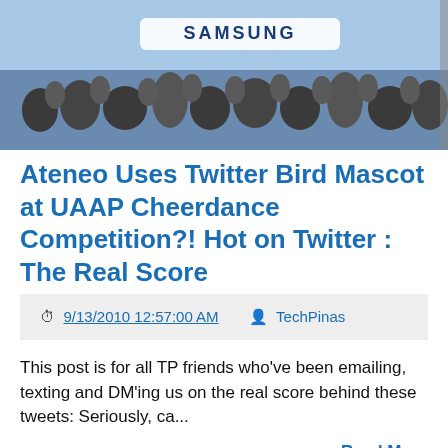[Figure (photo): Crowd scene with Samsung banner visible, appears to be a sports/cheerdance event]
Ateneo Uses Twitter Bird Mascot at UAAP Cheerdance Competition?! Hot on Twitter : The Real Score
9/13/2010 12:57:00 AM   TechPinas
This post is for all TP friends who've been emailing, texting and DM'ing us on the real score behind these tweets: Seriously, ca...
Read More
[Figure (photo): Bottom image, light blue/teal background, partial view]